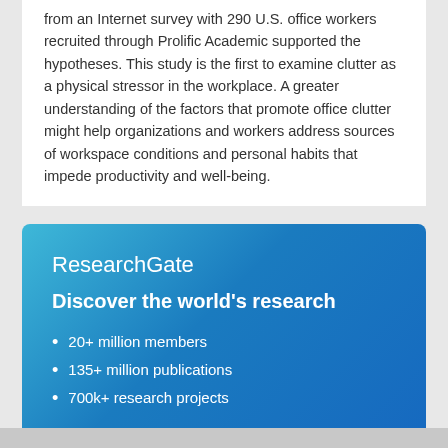from an Internet survey with 290 U.S. office workers recruited through Prolific Academic supported the hypotheses. This study is the first to examine clutter as a physical stressor in the workplace. A greater understanding of the factors that promote office clutter might help organizations and workers address sources of workspace conditions and personal habits that impede productivity and well-being.
ResearchGate
Discover the world's research
20+ million members
135+ million publications
700k+ research projects
Join for free